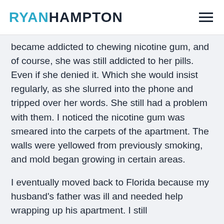RYAN HAMPTON
became addicted to chewing nicotine gum, and of course, she was still addicted to her pills. Even if she denied it. Which she would insist regularly, as she slurred into the phone and tripped over her words. She still had a problem with them. I noticed the nicotine gum was smeared into the carpets of the apartment. The walls were yellowed from previously smoking, and mold began growing in certain areas.
I eventually moved back to Florida because my husband's father was ill and needed help wrapping up his apartment. I still